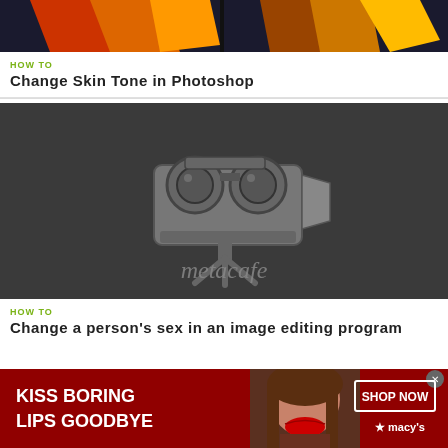[Figure (photo): Top portion of a how-to article thumbnail showing colorful fabric/scarves on dark background, partially cropped]
HOW TO
Change Skin Tone in Photoshop
[Figure (logo): Metacafe logo on dark gray background with a vintage film camera icon above the text 'metacafe']
HOW TO
Change a person's sex in an image editing program
[Figure (photo): Macy's advertisement banner with red background, woman with red lipstick, text 'KISS BORING LIPS GOODBYE' and 'SHOP NOW' button with Macy's star logo]